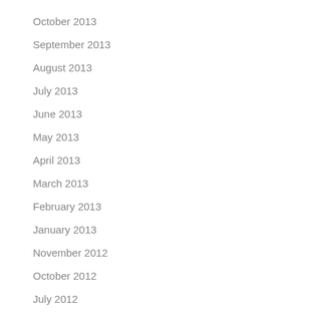October 2013
September 2013
August 2013
July 2013
June 2013
May 2013
April 2013
March 2013
February 2013
January 2013
November 2012
October 2012
July 2012
June 2012
May 2012